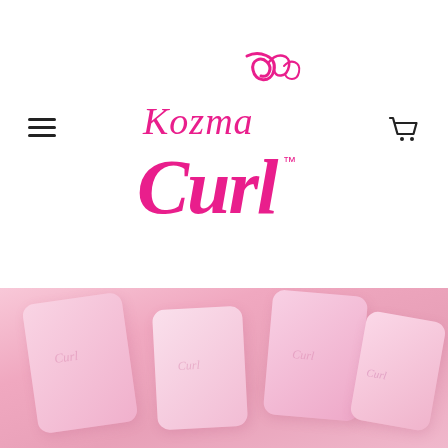[Figure (logo): Kozma Curl brand logo in hot pink/magenta. 'Kozma' in serif script with decorative curl/leaf flourish above, 'Curl' in large bold italic serif font below, with TM superscript.]
For all curl types
Products that suit all curls
[Figure (photo): Pink-toned flat lay photograph of Kozma Curl product packaging boxes arranged at various angles on a pink background.]